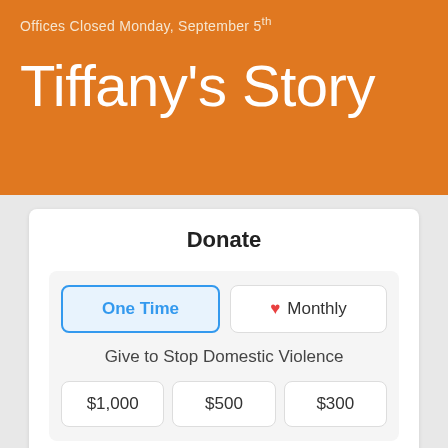Offices Closed Monday, September 5th
Tiffany's Story
Donate
One Time
Monthly
Give to Stop Domestic Violence
$1,000
$500
$300